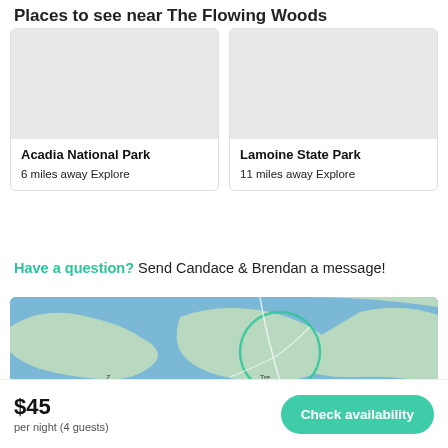Places to see near The Flowing Woods
Acadia National Park
6 miles away Explore
Lamoine State Park
11 miles away Explore
Have a question? Send Candace & Brendan a message!
[Figure (map): Map showing the area near The Flowing Woods with water, land, and a circular highlighted region with roads visible.]
$45 per night (4 guests)
Check availability